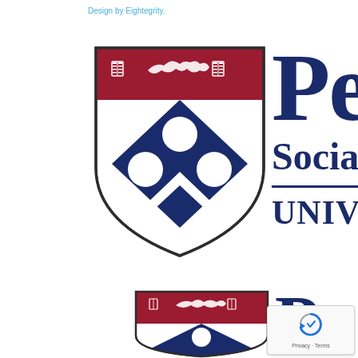Design by Eightegrity.
[Figure (logo): University of Pennsylvania shield logo (large) with red banner at top containing two open books and a dolphin/creature, dark navy blue diamond/lozenge pattern with three white circles on white shield, partially visible text 'Pe' and 'Socia' and 'UNIV' to the right]
[Figure (logo): University of Pennsylvania shield logo (smaller, bottom) with red banner at top containing two open books and a dolphin/creature, partially visible, with partial 'P' letter visible to the right and reCAPTCHA widget overlay]